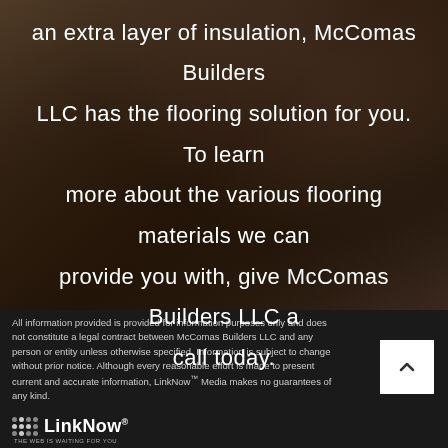[Figure (photo): Dark brown flooring/carpet background with overlay text about McComas Builders LLC flooring services]
lush carpeting that will cushion your feet and add an extra layer of insulation, McComas Builders LLC has the flooring solution for you. To learn more about the various flooring materials we can provide you with, give McComas Builders LLC a call today.
All information provided is provided for information purposes only and does not constitute a legal contract between McComas Builders LLC and any person or entity unless otherwise specified. Information is subject to change without prior notice. Although every reasonable effort is made to present current and accurate information, LinkNow™ Media makes no guarantees of any kind.
[Figure (logo): LinkNow Media logo with dot grid pattern and tagline THE WEB IS WAITING FOR YOU]